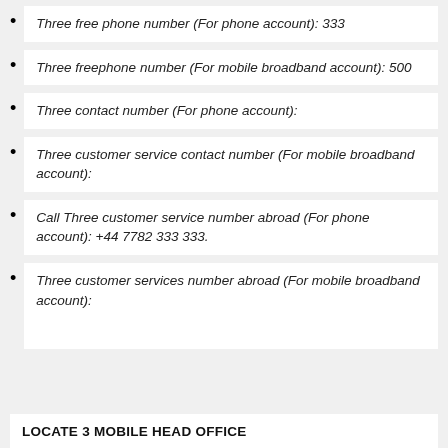Three free phone number (For phone account): 333
Three freephone number (For mobile broadband account): 500
Three contact number (For phone account):
Three customer service contact number (For mobile broadband account):
Call Three customer service number abroad (For phone account): +44 7782 333 333.
Three customer services number abroad (For mobile broadband account):
LOCATE 3 MOBILE HEAD OFFICE